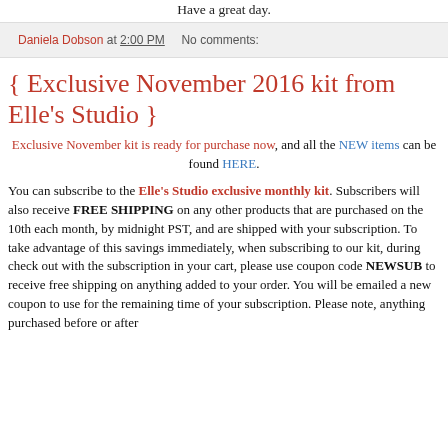Have a great day.
Daniela Dobson at 2:00 PM   No comments:
{ Exclusive November 2016 kit from Elle's Studio }
Exclusive November kit is ready for purchase now, and all the NEW items can be found HERE.
You can subscribe to the Elle's Studio exclusive monthly kit. Subscribers will also receive FREE SHIPPING on any other products that are purchased on the 10th each month, by midnight PST, and are shipped with your subscription. To take advantage of this savings immediately, when subscribing to our kit, during check out with the subscription in your cart, please use coupon code NEWSUB to receive free shipping on anything added to your order. You will be emailed a new coupon to use for the remaining time of your subscription. Please note, anything purchased before or after